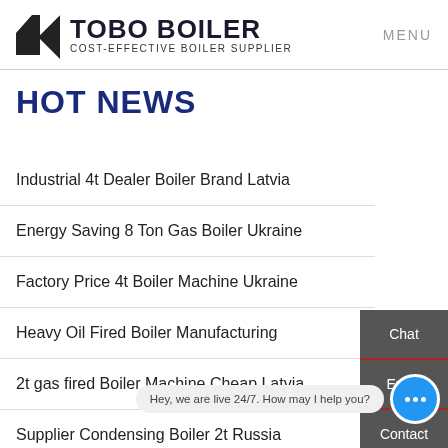TOBO BOILER COST-EFFECTIVE BOILER SUPPLIER | MENU
HOT NEWS
Industrial 4t Dealer Boiler Brand Latvia
Energy Saving 8 Ton Gas Boiler Ukraine
Factory Price 4t Boiler Machine Ukraine
Heavy Oil Fired Boiler Manufacturing
2t gas fired Boiler Machine Cheap Latvia
Supplier Condensing Boiler 2t Russia
Chat
Email
Contact
Hey, we are live 24/7. How may I help you?